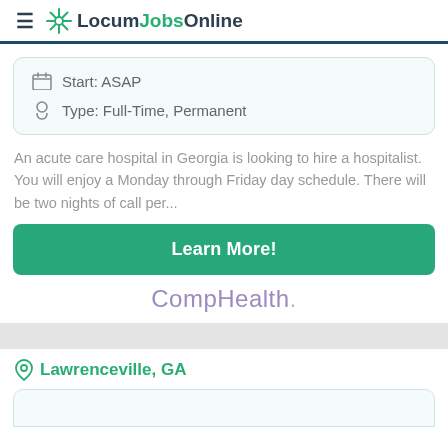LocumJobsOnline
Start: ASAP
Type: Full-Time, Permanent
An acute care hospital in Georgia is looking to hire a hospitalist. You will enjoy a Monday through Friday day schedule. There will be two nights of call per...
Learn More!
CompHealth.
Lawrenceville, GA